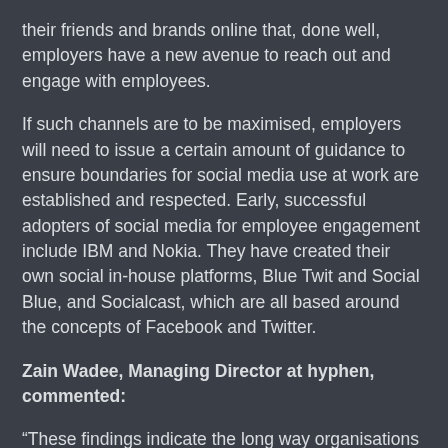their friends and brands online that, done well, employers have a new avenue to reach out and engage with employees.
If such channels are to be maximised, employers will need to issue a certain amount of guidance to ensure boundaries for social media use at work are established and respected. Early, successful adopters of social media for employee engagement include IBM and Nokia. They have created their own social in-house platforms, Blue Twit and Social Blue, and Socialcast, which are all based around the concepts of Facebook and Twitter.
Zain Wadee, Managing Director at hyphen, commented:
“These findings indicate the long way organisations have to go if they are to implement an impactful social media strategy that engages and communicates with employees. While many organisations are focussing their social media efforts on external audiences they are neglecting to see th